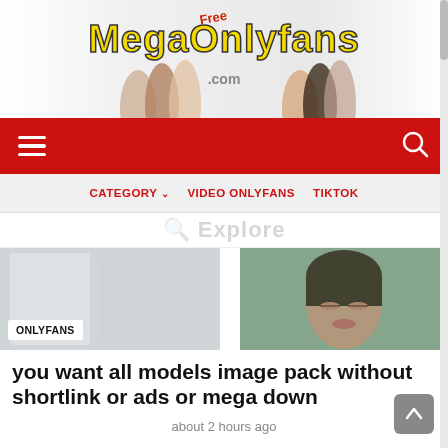[Figure (logo): FreeMegaOnlyfans.com website header banner with logo text and background images of models]
Navigation bar with hamburger menu and search icon on red background
CATEGORY ∨   VIDEO ONLYFANS   TIKTOK
[Figure (screenshot): Partially visible Explore section heading]
[Figure (photo): Two thumbnail images side by side - left is a blurred/light image with ONLYFANS badge, right shows a woman with dark hair and closed eyes]
you want all models image pack without shortlink or ads or mega down
about 2 hours ago